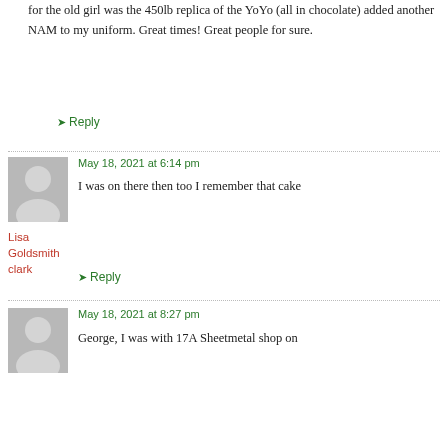for the old girl was the 450lb replica of the YoYo (all in chocolate) added another NAM to my uniform. Great times! Great people for sure.
↳ Reply
May 18, 2021 at 6:14 pm
[Figure (illustration): Generic user avatar silhouette, grey background]
I was on there then too I remember that cake
Lisa Goldsmith clark
↳ Reply
May 18, 2021 at 8:27 pm
[Figure (illustration): Generic user avatar silhouette, grey background]
George, I was with 17A Sheetmetal shop on